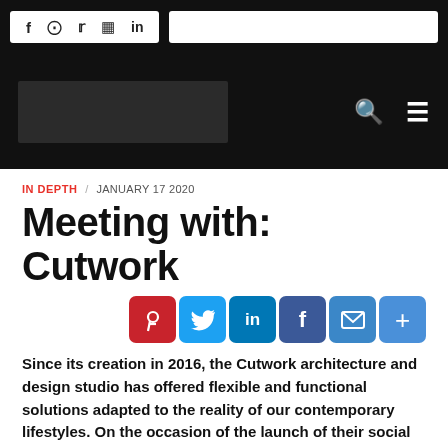f   pinterest  twitter  instagram  in  [search bar]
[Figure (screenshot): Website header with black background, logo placeholder on left, search and menu icons on right]
IN DEPTH  JANUARY 17 2020
Meeting with: Cutwork
[Figure (infographic): Row of social share buttons: Pinterest (red), Twitter (blue), LinkedIn (blue), Facebook (dark blue), Email (blue), More (blue)]
Since its creation in 2016, the Cutwork architecture and design studio has offered flexible and functional solutions adapted to the reality of our contemporary lifestyles. On the occasion of the launch of their social project Cortex Shelter - a prototype of sustainable shelter for refugees -,